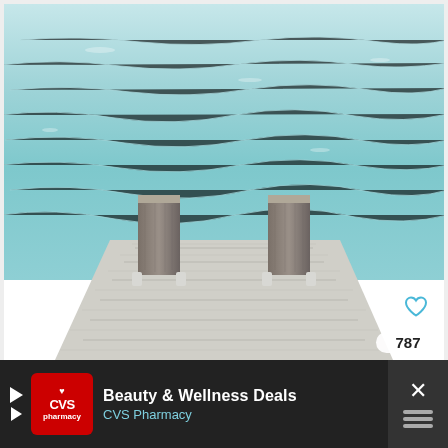[Figure (photo): A wooden dock/pier extending toward calm teal-green ocean water, with two weathered wooden posts at the end. The deck is made of pale whitewashed planks. The water fills the upper portion of the image. Social media UI overlays: a heart/like button (white circle), a count badge showing '787', and a share button (white circle with share icon).]
787
Beauty & Wellness Deals
CVS Pharmacy